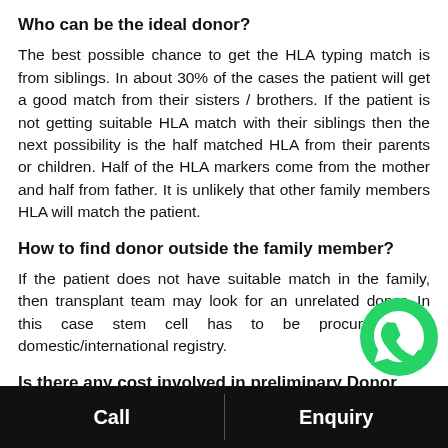Who can be the ideal donor?
The best possible chance to get the HLA typing match is from siblings. In about 30% of the cases the patient will get a good match from their sisters / brothers. If the patient is not getting suitable HLA match with their siblings then the next possibility is the half matched HLA from their parents or children. Half of the HLA markers come from the mother and half from father. It is unlikely that other family members HLA will match the patient.
How to find donor outside the family member?
If the patient does not have suitable match in the family, then transplant team may look for an unrelated donor. In this case stem cell has to be procured from domestic/international registry.
Is there any cost involved in preliminary Donor s... from the registry?
[Figure (logo): WhatsApp green phone icon]
Call    Enquiry